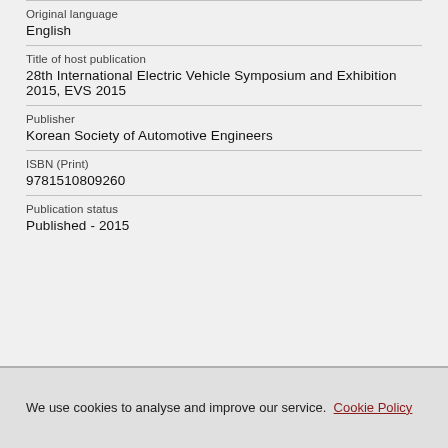Original language
English
Title of host publication
28th International Electric Vehicle Symposium and Exhibition 2015, EVS 2015
Publisher
Korean Society of Automotive Engineers
ISBN (Print)
9781510809260
Publication status
Published - 2015
We use cookies to analyse and improve our service. Cookie Policy